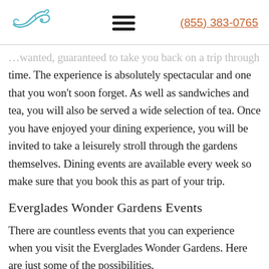(855) 383-0765
…wanted, guaranteed to take you back on a trip through time. The experience is absolutely spectacular and one that you won't soon forget. As well as sandwiches and tea, you will also be served a wide selection of tea. Once you have enjoyed your dining experience, you will be invited to take a leisurely stroll through the gardens themselves. Dining events are available every week so make sure that you book this as part of your trip.
Everglades Wonder Gardens Events
There are countless events that you can experience when you visit the Everglades Wonder Gardens. Here are just some of the possibilities.